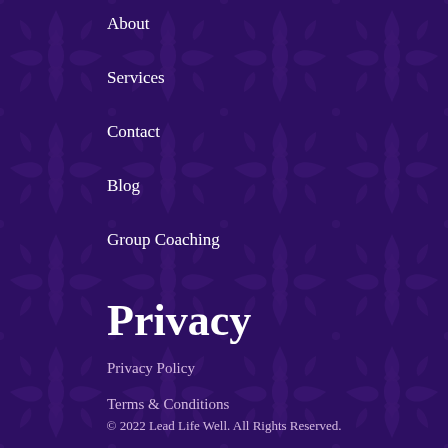About
Services
Contact
Blog
Group Coaching
Privacy
Privacy Policy
Terms & Conditions
© 2022 Lead Life Well. All Rights Reserved.